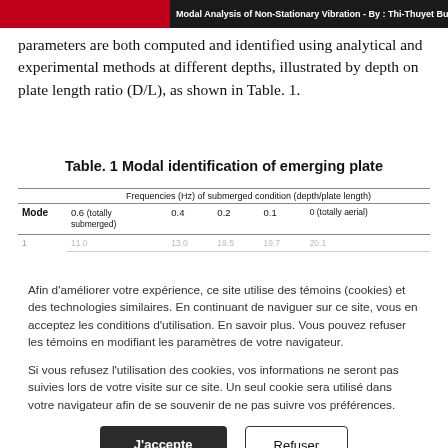Modal Analysis of Non-Stationary Vibration - By : Thi-Thuyet Bui, Viet-Hung Vu, Zhaoheng
parameters are both computed and identified using analytical and experimental methods at different depths, illustrated by depth on plate length ratio (D/L), as shown in Table. 1.
Table. 1 Modal identification of emerging plate
| Mode | Frequencies (Hz) of submerged condition (depth/plate length) |  |  |  |  |
| --- | --- | --- | --- | --- | --- |
|  | 0.6 (totally submerged) | 0.4 | 0.2 | 0.1 | 0 (totally aerial) |
Afin d'améliorer votre expérience, ce site utilise des témoins (cookies) et des technologies similaires. En continuant de naviguer sur ce site, vous en acceptez les conditions d'utilisation. En savoir plus. Vous pouvez refuser les témoins en modifiant les paramètres de votre navigateur.
Si vous refusez l'utilisation des cookies, vos informations ne seront pas suivies lors de votre visite sur ce site. Un seul cookie sera utilisé dans votre navigateur afin de se souvenir de ne pas suivre vos préférences.